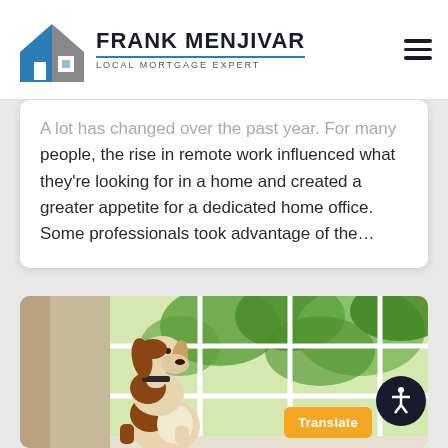FRANK MENJIVAR LOCAL MORTGAGE EXPERT
A lot has changed over the past year. For many people, the rise in remote work influenced what they're looking for in a home and created a greater appetite for a dedicated home office. Some professionals took advantage of the…
[Figure (photo): A brown and white dog standing on its hind legs looking out a large white-framed window with green trees visible outside]
Translate